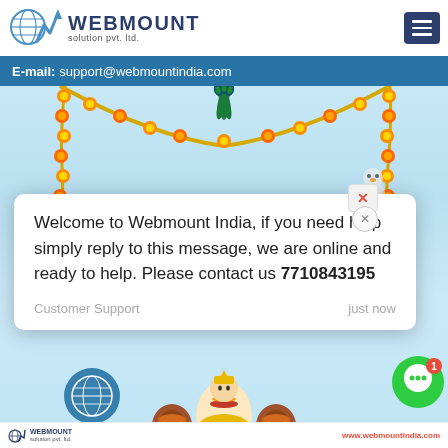[Figure (logo): Webmount Solution Pvt. Ltd. logo with globe and mountain/chart icon]
E-mail: support@webmountindia.com
[Figure (photo): Indian festival decorative banner with marigold garlands, peacock feathers, and Krishna figurine]
Welcome to Webmount India, if you need help simply reply to this message, we are online and ready to help. Please contact us 7710843195
Customer Support    just now
WEBMOUNT solution pvt. ltd.    www.webmountindia.com